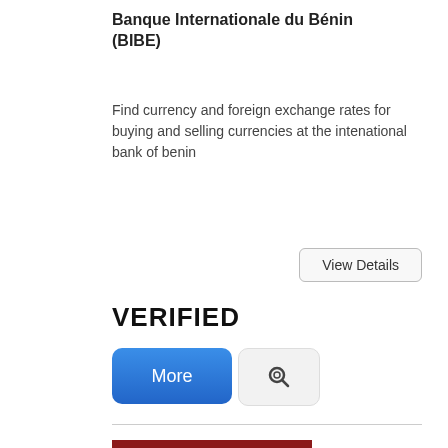Banque Internationale du Bénin (BIBE)
Find currency and foreign exchange rates for buying and selling currencies at the intenational bank of benin
View Details
VERIFIED
More
[Figure (logo): ABFPA - KEY EMPLOYMENT - Beninese Academy for Adults Vocational Training logo on dark red background]